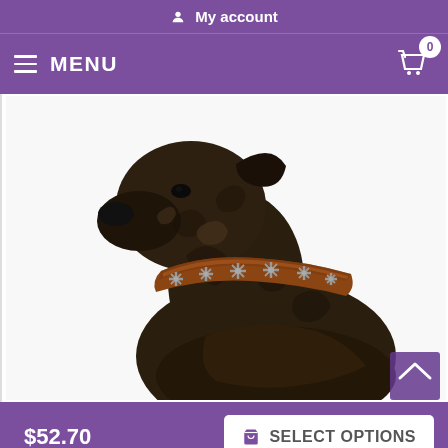My account
MENU
[Figure (photo): A dark brindle dog (likely Staffordshire Bull Terrier or similar breed) wearing a brown leather collar decorated with metal star/cross studs, photographed against a white background, looking upward in profile. The collar is prominently displayed around the dog's neck.]
$52.70
SELECT OPTIONS